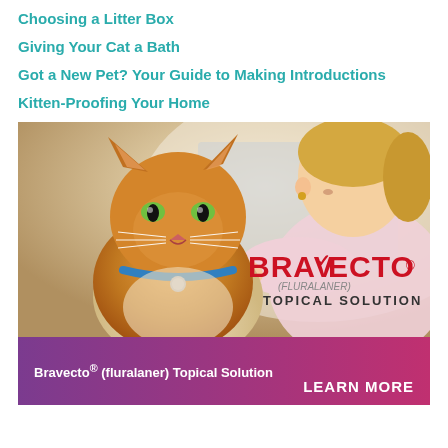Choosing a Litter Box
Giving Your Cat a Bath
Got a New Pet? Your Guide to Making Introductions
Kitten-Proofing Your Home
[Figure (photo): Orange/ginger long-haired cat wearing a blue collar being examined or petted by a woman in a pink shirt, with Bravecto (fluralaner) Topical Solution branding overlay]
Bravecto® (fluralaner) Topical Solution
LEARN MORE